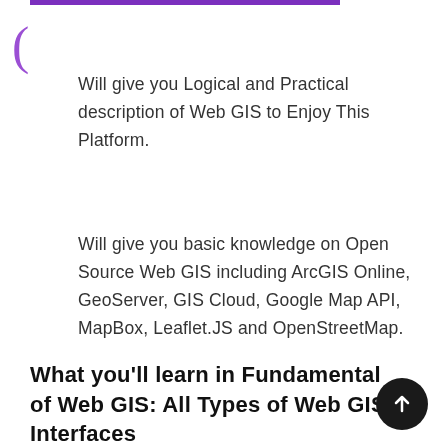Will give you Logical and Practical description of Web GIS to Enjoy This Platform.
Will give you basic knowledge on Open Source Web GIS including ArcGIS Online, GeoServer, GIS Cloud, Google Map API, MapBox, Leaflet.JS and OpenStreetMap.
What you'll learn in Fundamental of Web GIS: All Types of Web GIS Interfaces